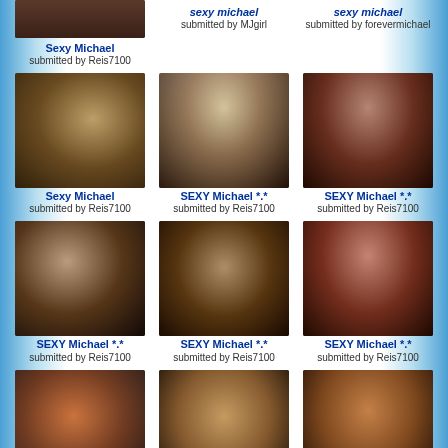[Figure (photo): Michael Jackson partial top photo]
sexy michael
submitted by MJgirl
sexy michael
submitted by forevermichael
[Figure (photo): Michael Jackson with sunglasses]
Sexy Michael
submitted by Reis7100
Sexy Michael
submitted by Reis7100
[Figure (photo): Michael Jackson performing with microphone]
SEXY Michael *.*
submitted by Reis7100
[Figure (photo): Michael Jackson close up singing]
SEXY Michael *.*
submitted by Reis7100
[Figure (photo): Michael Jackson laughing on stage]
SEXY Michael *.*
submitted by Reis7100
[Figure (photo): Michael Jackson close up hair down]
SEXY Michael *.*
submitted by Reis7100
[Figure (photo): Michael Jackson red lit performance]
SEXY Michael *.*
submitted by Reis7100
[Figure (photo): Michael Jackson young in orange shirt]
Sexy Michael ♥
submitted by anniejacksonn
[Figure (photo): Michael Jackson young smiling]
Sexy Michael ♥
submitted by anniejacksonn
[Figure (photo): Michael Jackson in orange shirt right side]
Sexy Michael ♥
submitted by anniejacksonn